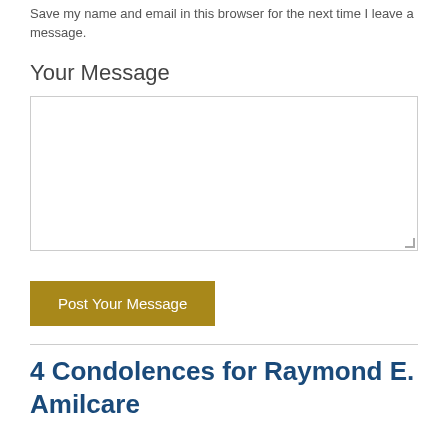Save my name and email in this browser for the next time I leave a message.
Your Message
[Figure (other): Empty textarea input box for message]
Post Your Message
4 Condolences for Raymond E. Amilcare